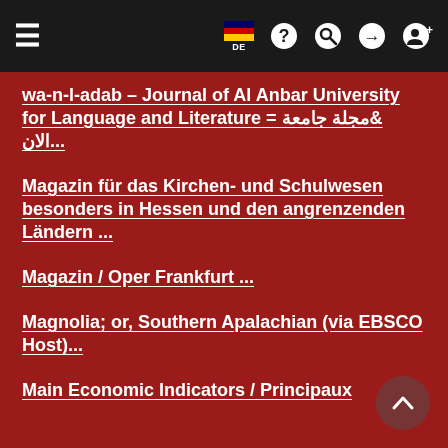≡  [flag DE]  ?  🔍  →  👤+
wa-n-l-adab – Journal of Al Anbar University for Language and Literature = &مجلة جامعة الان...
Magazin für das Kirchen- und Schulwesen besonders in Hessen und den angrenzenden Ländern ...
Magazin / Oper Frankfurt ...
Magnolia; or, Southern Apalachian (via EBSCO Host)...
Main Economic Indicators / Principaux ...